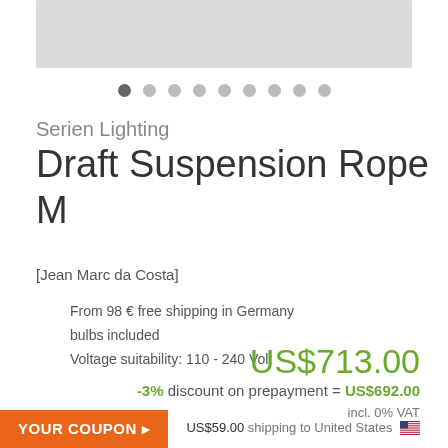[Figure (photo): Product image placeholder (gray rectangle)]
[Figure (other): Carousel navigation dots, 9 dots total, first dot active/darker]
Serien Lighting
Draft Suspension Rope M
[Jean Marc da Costa]
From 98 € free shipping in Germany
bulbs included
Voltage suitability: 110 - 240 Volt
US$713.00
-3% discount on prepayment = US$692.00
incl. 0% VAT
US$59.00 shipping to United States 🇺🇸
YOUR COUPON ▸